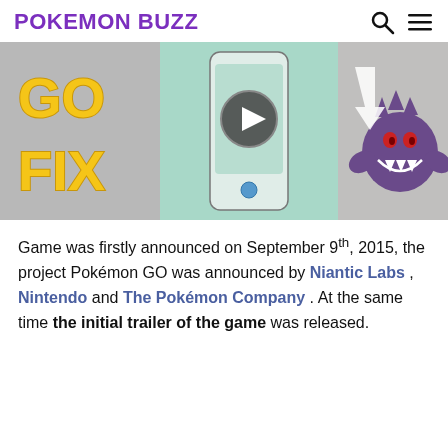POKEMON BUZZ
[Figure (screenshot): A composite thumbnail image showing Pokemon GO graphics: yellow 'GO FIX' text on the left, a smartphone with a play button in the center on a teal background, a white download arrow on the right, and a Gengar Pokemon character on the far right against a grey background.]
Game was firstly announced on September 9th, 2015, the project Pokémon GO was announced by Niantic Labs , Nintendo and The Pokémon Company . At the same time the initial trailer of the game was released.